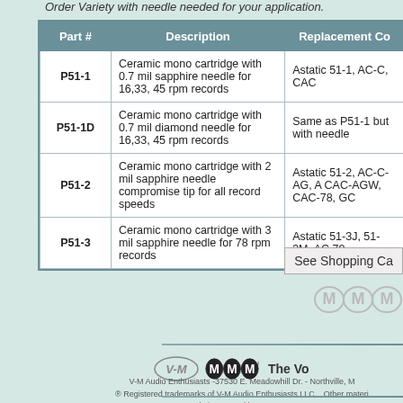Order Variety with needle needed for your application.
| Part # | Description | Replacement Co... |
| --- | --- | --- |
| P51-1 | Ceramic mono cartridge with 0.7 mil sapphire needle for 16,33, 45 rpm records | Astatic 51-1, AC-C, CAC... |
| P51-1D | Ceramic mono cartridge with 0.7 mil diamond needle for 16,33, 45 rpm records | Same as P51-1 but with... needle |
| P51-2 | Ceramic mono cartridge with 2 mil sapphire needle compromise tip for all record speeds | Astatic 51-2, AC-C-AG, A... CAC-AGW, CAC-78, GC... |
| P51-3 | Ceramic mono cartridge with 3 mil sapphire needle for 78 rpm records | Astatic 51-3J, 51-3M, AC... 78 |
See Shopping Ca...
[Figure (logo): MMM icons / logo marks]
[Figure (logo): V-M Audio and MMM logo with 'The Vo...' text]
V-M Audio Enthusiasts -37530 E. Meadowhill Dr. - Northville, M...
® Registered trademarks of V-M Audio Enthusiasts LLC. Other materi...
Website created by MKCompu...